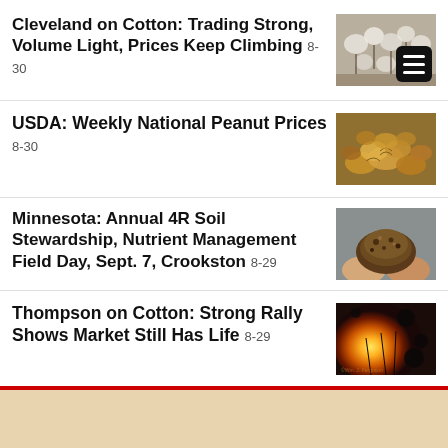Cleveland on Cotton: Trading Strong, Volume Light, Prices Keep Climbing 8-30
USDA: Weekly National Peanut Prices 8-30
Minnesota: Annual 4R Soil Stewardship, Nutrient Management Field Day, Sept. 7, Crookston 8-29
Thompson on Cotton: Strong Rally Shows Market Still Has Life 8-29